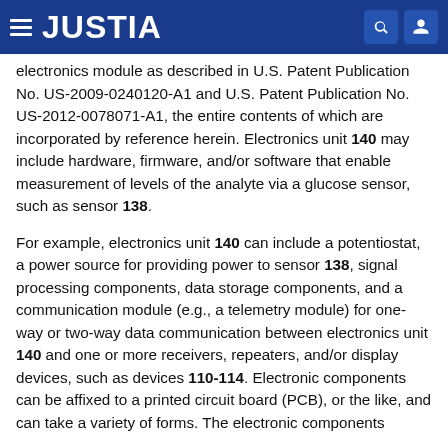JUSTIA
electronics module as described in U.S. Patent Publication No. US-2009-0240120-A1 and U.S. Patent Publication No. US-2012-0078071-A1, the entire contents of which are incorporated by reference herein. Electronics unit 140 may include hardware, firmware, and/or software that enable measurement of levels of the analyte via a glucose sensor, such as sensor 138.
For example, electronics unit 140 can include a potentiostat, a power source for providing power to sensor 138, signal processing components, data storage components, and a communication module (e.g., a telemetry module) for one-way or two-way data communication between electronics unit 140 and one or more receivers, repeaters, and/or display devices, such as devices 110-114. Electronic components can be affixed to a printed circuit board (PCB), or the like, and can take a variety of forms. The electronic components